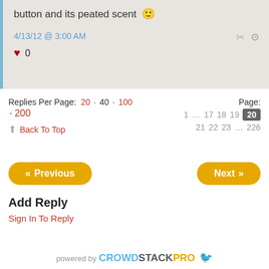button and its peated scent 🙂
4/13/12 @ 3:00 AM
♥ 0
Replies Per Page: 20 · 40 · 100 · 200   Page: 1 … 17 18 19 20 21 22 23 … 226
⬆ Back To Top
« Previous
Next »
Add Reply
Sign In To Reply
powered by CROWDSTACKPRO 🐦